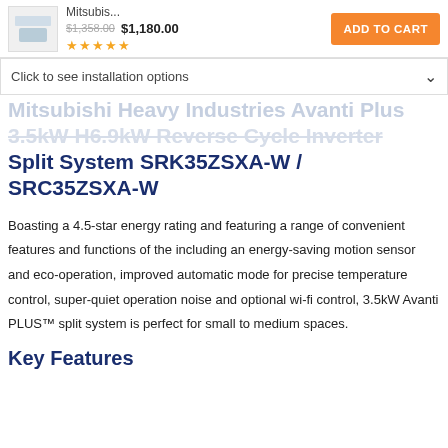Mitsubis... $1,358.00 $1,180.00 ADD TO CART ★★★★★
Click to see installation options
Mitsubishi Heavy Industries Avanti Plus 3.5kW H6.9kW Reverse Cycle Inverter Split System SRK35ZSXA-W / SRC35ZSXA-W
Boasting a 4.5-star energy rating and featuring a range of convenient features and functions of the including an energy-saving motion sensor and eco-operation, improved automatic mode for precise temperature control, super-quiet operation noise and optional wi-fi control, 3.5kW Avanti PLUS™ split system is perfect for small to medium spaces.
Key Features